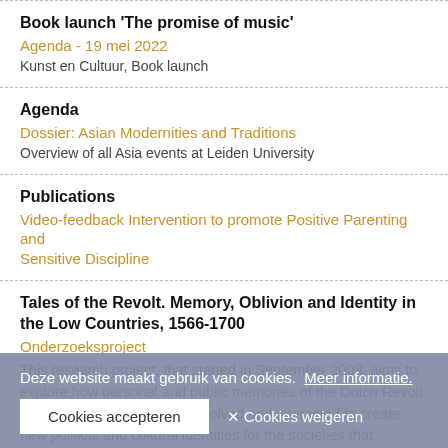Book launch 'The promise of music'
Agenda - 19 mei 2022
Kunst en Cultuur, Book launch
Agenda
Dossier: Asian Modernities and Traditions
Overview of all Asia events at Leiden University
Publications
Video-feedback Intervention to promote Positive Parenting and Sensitive Discipline
Tales of the Revolt. Memory, Oblivion and Identity in the Low Countries, 1566-1700
Onderzoeksproject
This research project, that started in September 2008, aims to explore how personal and public memories of the Dutch Revolt in the seventeenth century evolved and interacted to create new political and cultural identities for the societies that eventually were to become the kingdoms of the Netherlands.
Deze website maakt gebruik van cookies. Meer informatie.
Cookies accepteren   ✕ Cookies weigeren